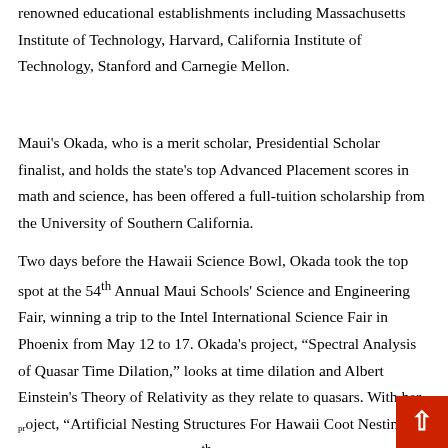renowned educational establishments including Massachusetts Institute of Technology, Harvard, California Institute of Technology, Stanford and Carnegie Mellon.
Maui's Okada, who is a merit scholar, Presidential Scholar finalist, and holds the state's top Advanced Placement scores in math and science, has been offered a full-tuition scholarship from the University of Southern California.
Two days before the Hawaii Science Bowl, Okada took the top spot at the 54th Annual Maui Schools' Science and Engineering Fair, winning a trip to the Intel International Science Fair in Phoenix from May 12 to 17. Okada's project, "Spectral Analysis of Quasar Time Dilation," looks at time dilation and Albert Einstein's Theory of Relativity as they relate to quasars. With her project, "Artificial Nesting Structures For Hawaii Coot Nesting Successes," Molokai High 10th grader Sarah Jenkins placed second at the Maui Fair, also securing a trip to Phoenix. Both Okada and Jenkins will feature their projects at the Hawaii State Science and Engineering Fair, April 7 to 9 at the Hawaii Convention